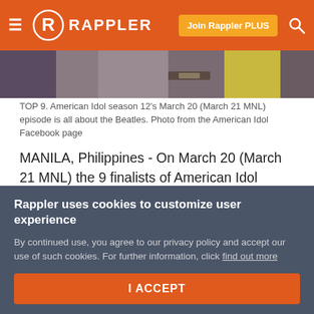≡ R RAPPLER   Join Rappler PLUS  🔍
[Figure (photo): Partial photo of American Idol season 12 contestants, cropped at top]
TOP 9. American Idol season 12's March 20 (March 21 MNL) episode is all about the Beatles. Photo from the American Idol Facebook page
MANILA, Philippines - On March 20 (March 21 MNL) the 9 finalists of American Idol season 12 performed song choices from the John Lennon-Paul McCartney songbook, classic melodies from the two Beatles legends.
Curtis Finch Jr was eliminated in the first week of the top
Rappler uses cookies to customize user experience
By continued use, you agree to our privacy policy and accept our use of such cookies. For further information, click find out more
I ACCEPT